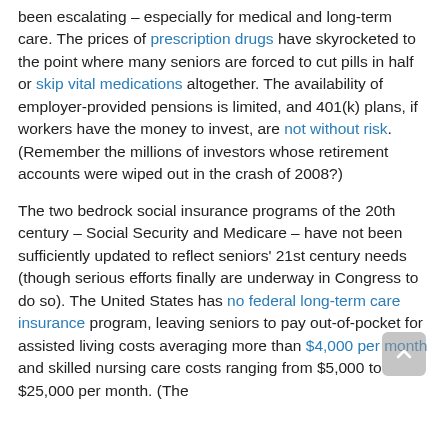been escalating – especially for medical and long-term care. The prices of prescription drugs have skyrocketed to the point where many seniors are forced to cut pills in half or skip vital medications altogether. The availability of employer-provided pensions is limited, and 401(k) plans, if workers have the money to invest, are not without risk. (Remember the millions of investors whose retirement accounts were wiped out in the crash of 2008?)
The two bedrock social insurance programs of the 20th century – Social Security and Medicare – have not been sufficiently updated to reflect seniors' 21st century needs (though serious efforts finally are underway in Congress to do so). The United States has no federal long-term care insurance program, leaving seniors to pay out-of-pocket for assisted living costs averaging more than $4,000 per month and skilled nursing care costs ranging from $5,000 to $25,000 per month. (The